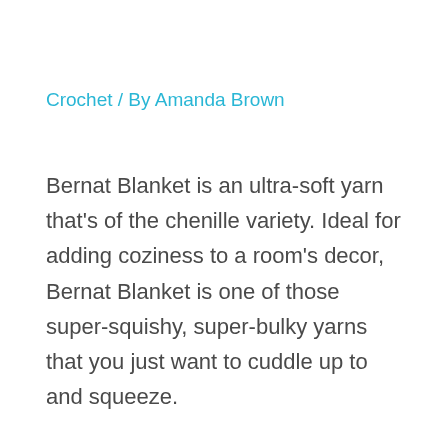Crochet / By Amanda Brown
Bernat Blanket is an ultra-soft yarn that's of the chenille variety. Ideal for adding coziness to a room's decor, Bernat Blanket is one of those super-squishy, super-bulky yarns that you just want to cuddle up to and squeeze.